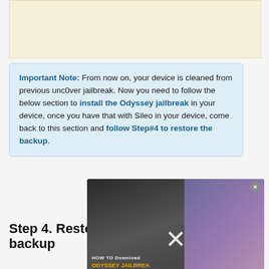[Figure (other): Advertisement banner placeholder with light yellow/cream background]
Important Note: From now on, your device is cleaned from previous unc0ver jailbreak. Now you need to follow the below section to install the Odyssey jailbreak in your device, once you have that with Sileo in your device, come back to this section and follow Step#4 to restore the backup.
Step 4. Restore back all tweaks backup
[Figure (screenshot): Video player overlay showing 'No compatible source was found for this media' with an Odyssey Jailbreak with Altstore thumbnail (iOS 13-13.7, Also Check Tweaks Compatibility) and a close button X]